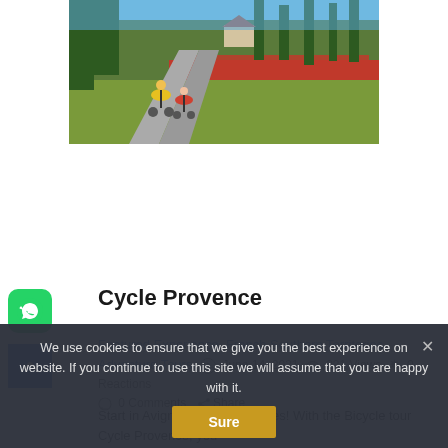[Figure (photo): Two cyclists riding on a narrow path through a colorful landscape with red poppy fields and green grasses under a blue sky with trees in the background.]
Cycle Provence
Featured Experience, French Southern Territories Adventure Tours  June 14, 2021  221 Views  0 Reactions  0 Comments  Share
Start in Avignon and end in Arles! With the Bicycle tour Cycle Provence, you
We use cookies to ensure that we give you the best experience on website. If you continue to use this site we will assume that you are happy with it.